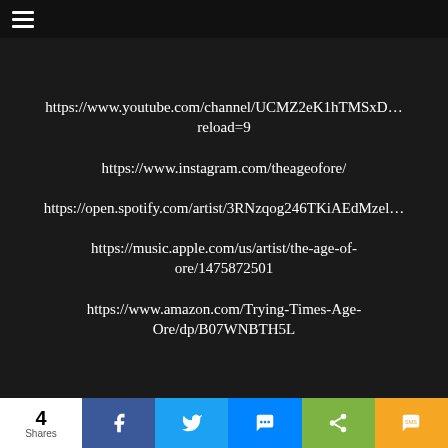https://www.youtube.com/channel/UCMZ2eK1hTMSxD… reload=9
https://www.instagram.com/theageofore/
https://open.spotify.com/artist/3RNzqog246TKiAEdMzel…
https://music.apple.com/us/artist/the-age-of-ore/1475872501
https://www.amazon.com/Trying-Times-Age-Ore/dp/B07WNBTH5L
4 Shares